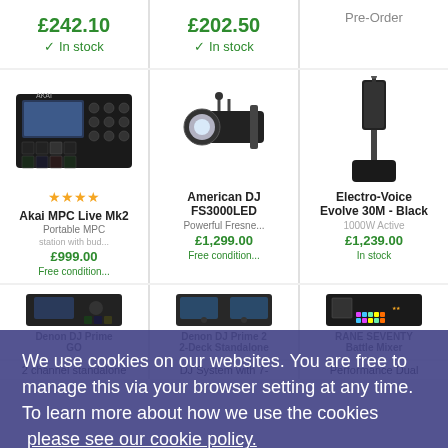£242.10 ✓ In stock
£202.50 ✓ In stock
Pre-Order
[Figure (photo): Akai MPC Live Mk2 product image with 4 star rating]
[Figure (photo): American DJ FS3000LED spotlight product image]
[Figure (photo): Electro-Voice Evolve 30M - Black speaker column product image]
Akai MPC Live Mk2
Portable MPC
£999.00
American DJ FS3000LED
Powerful Fresne...
£1,299.00
Electro-Voice Evolve 30M - Black
1000W Active
£1,239.00
In stock
We use cookies on our websites. You are free to manage this via your browser setting at any time. To learn more about how we use the cookies please see our cookie policy.
Close
[Figure (photo): Denon DJ Prime GO product image]
[Figure (photo): Denon DJ Prime 2 2-Deck Standalone product image]
[Figure (photo): RANE SEVENTY Battle Mixer product image]
Denon DJ Prime GO
2 channel standalone
Denon DJ Prime 2 2-Deck Standalone
DJ System with 7-
RANE SEVENTY Battle Mixer
Performance Dual